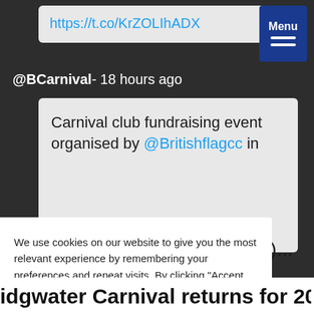https://t.co/KrZOLIhADX
[Figure (screenshot): Menu button with hamburger icon]
@BCarnival- 18 hours ago
Carnival club fundraising event organised by @Britishflagcc in (Aug)...
We use cookies on our website to give you the most relevant experience by remembering your preferences and repeat visits. By clicking "Accept All", you consent to the use of ALL the cookies. However, you may visit "Cookie Settings" to provide a controlled consent.
Cookie Settings
Accept All
idgwater Carnival returns for 2022